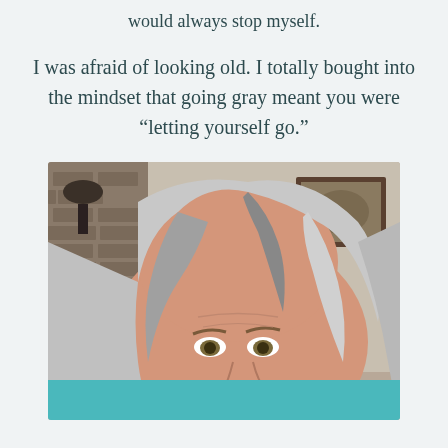would always stop myself.
I was afraid of looking old. I totally bought into the mindset that going gray meant you were “letting yourself go.”
[Figure (photo): Close-up selfie photo of a middle-aged woman with long silver-gray and dark streaked hair, looking upward with hazel eyes, in a room with brick wall and framed picture in background. A teal/turquoise bar overlays the bottom of the image.]